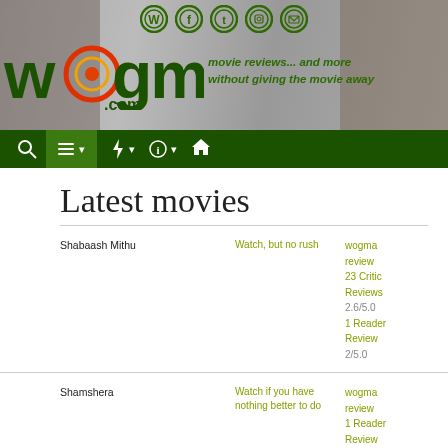[Figure (screenshot): Wogma.com website header with social media icons (WhatsApp, Facebook, Twitter, Instagram, Email), wogma.com logo, tagline 'movie reviews... and more without giving the movie away', dark green navigation bar with search, menu, flash, info, and home icons.]
Latest movies
| Movie | Verdict | Reviews |
| --- | --- | --- |
| Shabaash Mithu | Watch, but no rush | wogma review
23 Critic Reviews 2.6/5.0
1 Reader Review
2/5.0 |
| Shamshera | Watch if you have nothing better to do | wogma review
1 Reader Review
2/5.0 |
| Khuda Haafiz: Chapter II – Agni Pariksha | Watch if you have nothing better to do | wogma review
23 Critic Reviews 1.3/5.0
1 Reader Review |